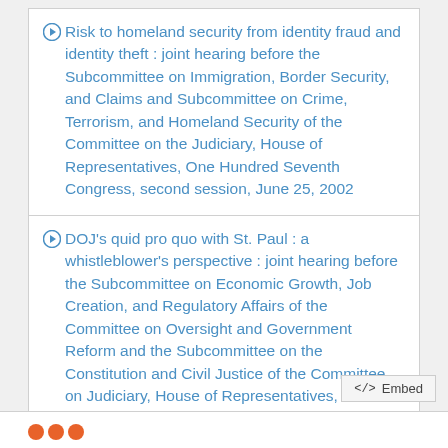Risk to homeland security from identity fraud and identity theft : joint hearing before the Subcommittee on Immigration, Border Security, and Claims and Subcommittee on Crime, Terrorism, and Homeland Security of the Committee on the Judiciary, House of Representatives, One Hundred Seventh Congress, second session, June 25, 2002
DOJ's quid pro quo with St. Paul : a whistleblower's perspective : joint hearing before the Subcommittee on Economic Growth, Job Creation, and Regulatory Affairs of the Committee on Oversight and Government Reform and the Subcommittee on the Constitution and Civil Justice of the Committee on Judiciary, House of Representatives, One Hundred Thirteenth Congress, first
</> Embed